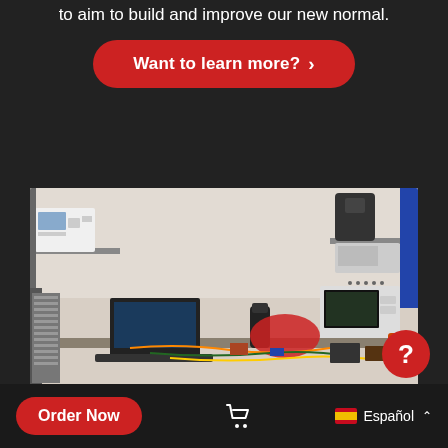to aim to build and improve our new normal.
Want to learn more? >
[Figure (photo): Photo of an electronics/engineering lab workspace showing oscilloscopes, laptops, electronic components, cables, and various equipment on metal shelving and a workbench]
Order Now
Español ^